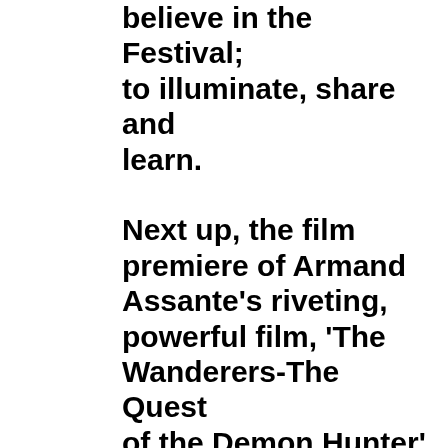believe in the Festival; to illuminate, share and learn.

Next up, the film premiere of Armand Assante's riveting, powerful film, 'The Wanderers-The Quest of the Demon Hunter' in the Paramount Theater. Of course, I loved it, engrossed, carpeted to on site locations in Romania, loved the Q and A, honest, engrossing, revealing. Would love a